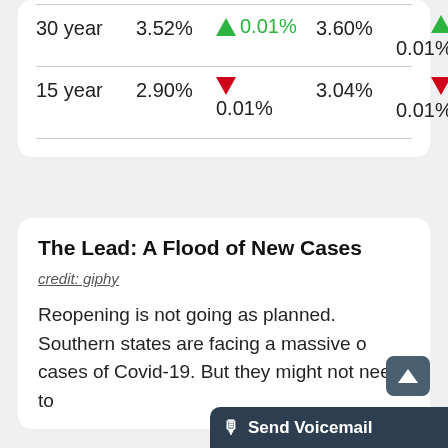| Term | Rate | Change | APR | APR Change |
| --- | --- | --- | --- | --- |
| 30 year | 3.52% | ↑ 0.01% | 3.60% | ↑ 0.01% |
| 15 year | 2.90% | ↓ 0.01% | 3.04% | ↓ 0.01% |
The Lead: A Flood of New Cases
credit: giphy
Reopening is not going as planned. Southern states are facing a massive o… cases of Covid-19. But they might not need to